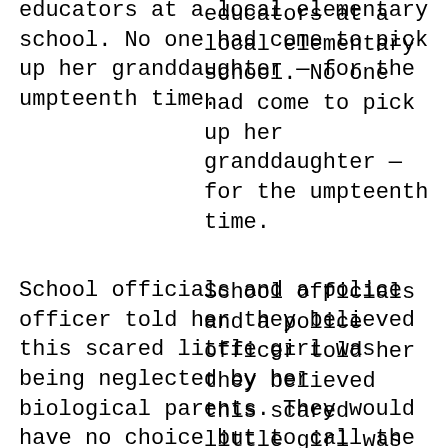educators at a local elementary school. No one had come to pick up her granddaughter — for the umpteenth time.
School officials and a police officer told her they believed this scared little girl was being neglected by her biological parents. They would have no choice but to call the Department of Health and Welfare unless the grandmother intervened immediately.
It was then that a terrible truth had to be faced: The woman's own daughter was incapable of parenting two children because she was locked in a downward spiral of substance abuse and poor lifestyle choices. There was no one else